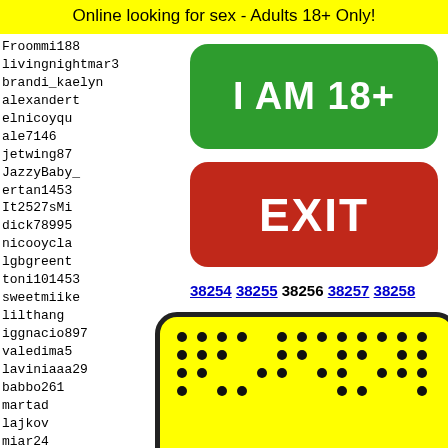Online looking for sex - Adults 18+ Only!
Froommi188
livingnightmar3
brandi_kaelyn
alexandert
elnicoyqu
ale7146
jetwing87
JazzyBaby_
ertan1453
It2527sMi
dick78995
nicooycla
lgbgreent
toni101453
sweetmiike
lilthang
iggnacio897
valedima5
laviniaaa29
babbo261
martad
lajkov
miar24
sexy23
andrea
markss
[Figure (other): Green button with text I AM 18+]
[Figure (other): Red button with text EXIT]
38254 38255 38256 38257 38258
[Figure (illustration): Yellow smiley face emoji with black dots pattern and sunglasses on yellow background with black rounded border]